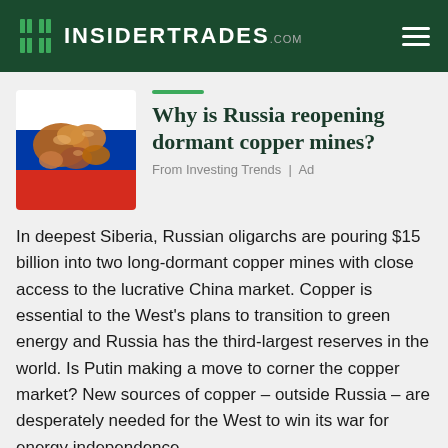InsiderTrades.com
[Figure (photo): Copper nuggets/ingots on a Russian flag background]
Why is Russia reopening dormant copper mines?
From Investing Trends | Ad
In deepest Siberia, Russian oligarchs are pouring $15 billion into two long-dormant copper mines with close access to the lucrative China market. Copper is essential to the West's plans to transition to green energy and Russia has the third-largest reserves in the world. Is Putin making a move to corner the copper market? New sources of copper – outside Russia – are desperately needed for the West to win its war for energy independence.